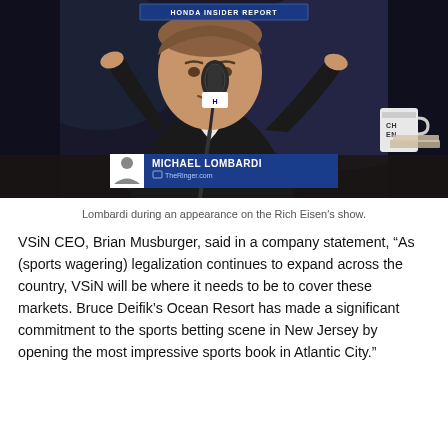[Figure (photo): Michael Lombardi seated at a studio desk with a microphone, gesturing with both hands during an appearance on the Rich Eisen Show. Lower-third chyron reads 'MICHAEL LOMBARDI / TheRinger.com'. Honda Insider Report badge visible at top.]
Lombardi during an appearance on the Rich Eisen's show.
VSiN CEO, Brian Musburger, said in a company statement, “As (sports wagering) legalization continues to expand across the country, VSiN will be where it needs to be to cover these markets. Bruce Deifik’s Ocean Resort has made a significant commitment to the sports betting scene in New Jersey by opening the most impressive sports book in Atlantic City.”